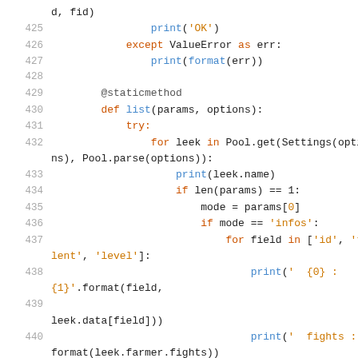Code listing lines 425-440: Python source code showing print, except ValueError, @staticmethod, def list, try, for loop with Pool.get, if len, mode assignment, if mode infos, for field in list, print format calls